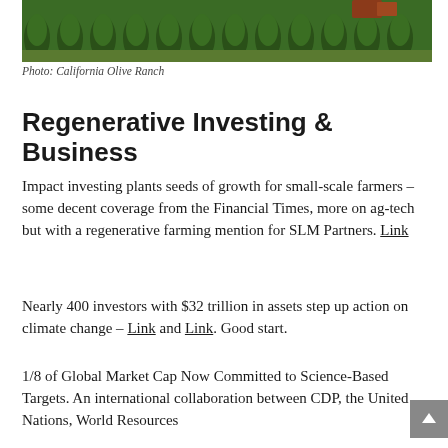[Figure (photo): Aerial or ground-level photo of rows of olive trees at California Olive Ranch, with green tree canopies and reddish equipment visible in background.]
Photo: California Olive Ranch
Regenerative Investing & Business
Impact investing plants seeds of growth for small-scale farmers – some decent coverage from the Financial Times, more on ag-tech but with a regenerative farming mention for SLM Partners. Link
Nearly 400 investors with $32 trillion in assets step up action on climate change – Link and Link. Good start.
1/8 of Global Market Cap Now Committed to Science-Based Targets. An international collaboration between CDP, the United Nations, World Resources Institute, and WW…